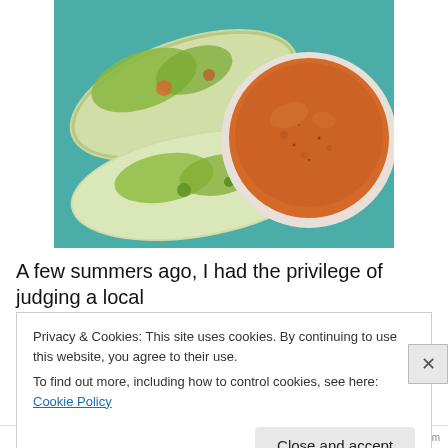[Figure (photo): Photo of two Vietnamese spring rolls (fresh rolls in rice paper wrapper with green lettuce and vegetables visible) served on a teal/turquoise plate alongside a small white ramekin filled with orange-tan peanut dipping sauce.]
A few summers ago, I had the privilege of judging a local
Iron Chef competition. The secret ingredient was not some
Privacy & Cookies: This site uses cookies. By continuing to use this website, you agree to their use.
To find out more, including how to control cookies, see here: Cookie Policy
Close and accept